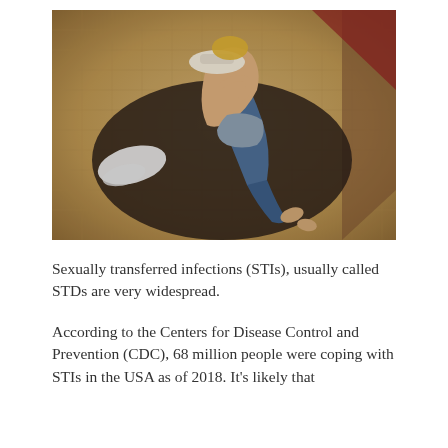[Figure (photo): Overhead view of two people lying on a dark blanket on a woven floor, embracing. One person wearing a white hat and jeans, the other in denim shorts. A white garment is visible to the left.]
Sexually transferred infections (STIs), usually called STDs are very widespread.
According to the Centers for Disease Control and Prevention (CDC), 68 million people were coping with STIs in the USA as of 2018. It's likely that